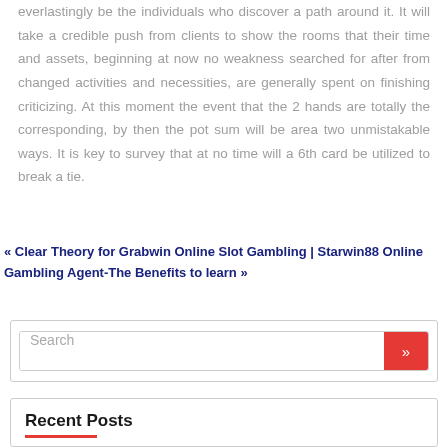everlastingly be the individuals who discover a path around it. It will take a credible push from clients to show the rooms that their time and assets, beginning at now no weakness searched for after from changed activities and necessities, are generally spent on finishing criticizing. At this moment the event that the 2 hands are totally the corresponding, by then the pot sum will be area two unmistakable ways. It is key to survey that at no time will a 6th card be utilized to break a tie.
« Clear Theory for Grabwin Online Slot Gambling | Starwin88 Online Gambling Agent-The Benefits to learn »
Search
Recent Posts